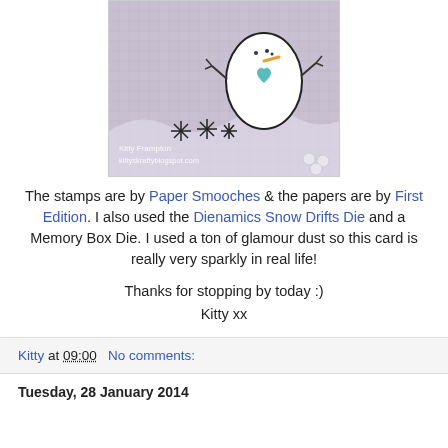[Figure (photo): Handmade card featuring a cute snowman with a teal heart, orange carrot nose, on a grid patterned background with sparkle snow drifts. Watermark: Kitty Frampton, kittyskraftyblogspot.com]
The stamps are by Paper Smooches & the papers are by First Edition. I also used the Dienamics Snow Drifts Die and a Memory Box Die. I used a ton of glamour dust so this card is really very sparkly in real life!
Thanks for stopping by today :)
Kitty xx
Kitty at 09:00   No comments:
Tuesday, 28 January 2014